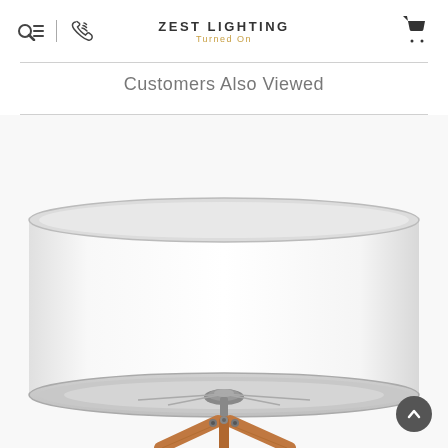ZEST LIGHTING — Turned On
Customers Also Viewed
[Figure (photo): A floor lamp with a large white cylindrical drum shade and a wooden tripod base with silver metal fittings, photographed against a white background. The image is cropped showing the shade and upper portion of the tripod legs.]